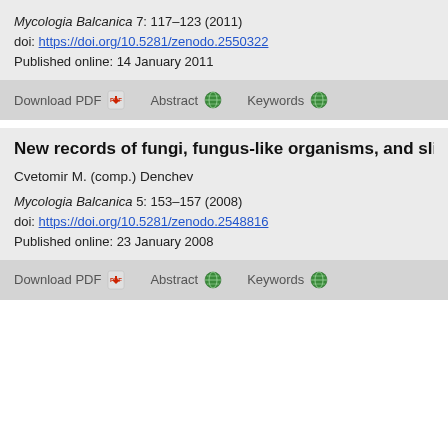Mycologia Balcanica 7: 117–123 (2011)
doi: https://doi.org/10.5281/zenodo.2550322
Published online: 14 January 2011
Download PDF  Abstract  Keywords
New records of fungi, fungus-like organisms, and slime moulds f
Cvetomir M. (comp.) Denchev
Mycologia Balcanica 5: 153–157 (2008)
doi: https://doi.org/10.5281/zenodo.2548816
Published online: 23 January 2008
Download PDF  Abstract  Keywords